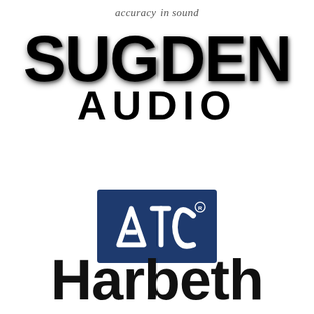accuracy in sound
[Figure (logo): Sugden Audio logo — large bold black 3D text 'SUGDEN' above 'AUDIO' in bold black letters]
[Figure (logo): ATC logo — white stylized 'ATC' letters on dark navy blue rectangular background with registered trademark symbol]
[Figure (logo): Harbeth logo — large bold black sans-serif text reading 'Harbeth']